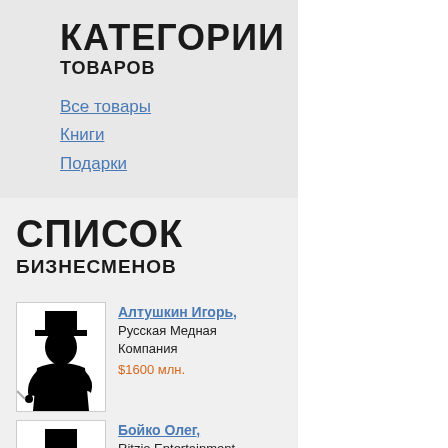КАТЕГОРИИ ТОВАРОВ
Все товары
Книги
Подарки
СПИСОК БИЗНЕСМЕНОВ
[Figure (illustration): Silhouette of a businessman with top hat and cigar]
Алтушкин Игорь, Русская Медная Компания $1600 млн.
[Figure (illustration): Silhouette of a businessman with top hat and cigar]
Бойко Олег, Ritzio Entertainment Group $1100 млн.